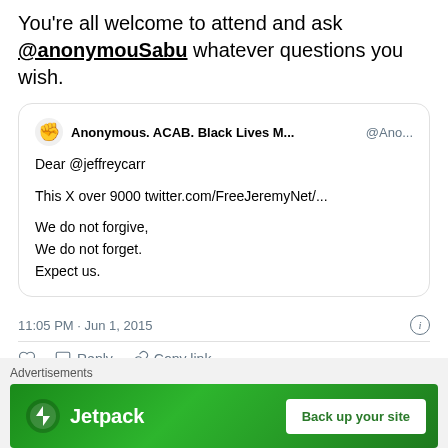You're all welcome to attend and ask @anonymouSabu whatever questions you wish.
Anonymous. ACAB. Black Lives M... @Ano...
Dear @jeffreycarr

This X over 9000 twitter.com/FreeJeremyNet/...

We do not forgive,
We do not forget.
Expect us.
11:05 PM · Jun 1, 2015
Reply   Copy link
Read 2 replies
Advertisements
[Figure (screenshot): Jetpack advertisement banner with green background showing Jetpack logo and 'Back up your site' button]